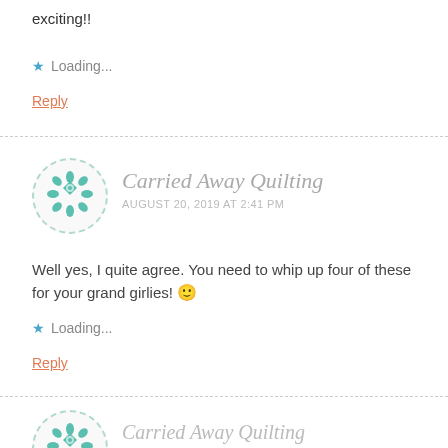exciting!!
Loading...
Reply
[Figure (logo): Circular dashed-border avatar with teal quilting pattern logo for Carried Away Quilting]
Carried Away Quilting
AUGUST 20, 2019 AT 2:41 PM
Well yes, I quite agree. You need to whip up four of these for your grand girlies! 🙂
Loading...
Reply
[Figure (logo): Partial circular dashed-border avatar with teal quilting pattern logo for Carried Away Quilting (bottom of page)]
Carried Away Quilting